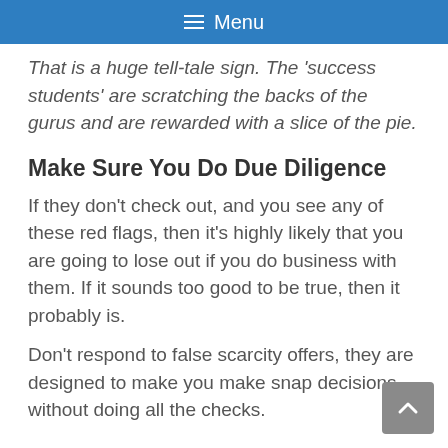Menu
That is a huge tell-tale sign. The 'success students' are scratching the backs of the gurus and are rewarded with a slice of the pie.
Make Sure You Do Due Diligence
If they don't check out, and you see any of these red flags, then it's highly likely that you are going to lose out if you do business with them. If it sounds too good to be true, then it probably is.
Don't respond to false scarcity offers, they are designed to make you make snap decisions without doing all the checks.